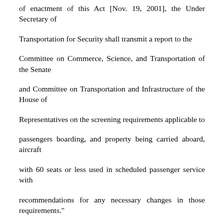of enactment of this Act [Nov. 19, 2001], the Under Secretary of Transportation for Security shall transmit a report to the Committee on Commerce, Science, and Transportation of the Senate and Committee on Transportation and Infrastructure of the House of Representatives on the screening requirements applicable to passengers boarding, and property being carried aboard, aircraft with 60 seats or less used in scheduled passenger service with recommendations for any necessary changes in those requirements."